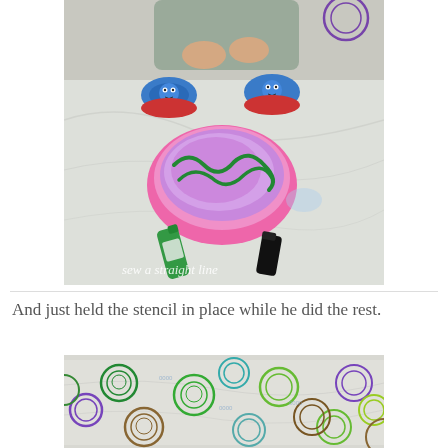[Figure (photo): Child with Thomas the Tank Engine shoes mixing green paint into pink/purple shaving cream in a round pink bowl on white fabric. Green and black paint bottles nearby. Watermark reads 'sew a straight line'.]
And just held the stencil in place while he did the rest.
[Figure (photo): White fabric spread out showing multiple colorful circular stencil prints of what appear to be animal/character faces in various colors including green, purple, brown, teal, and lime green.]